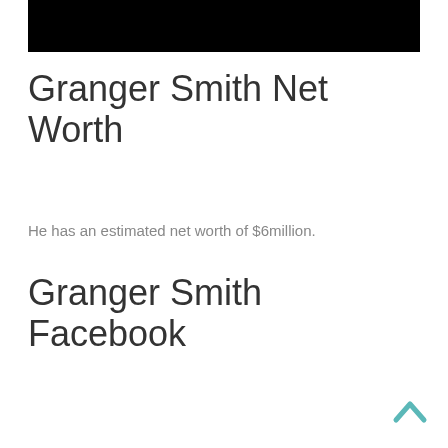[Figure (photo): Black rectangular banner/header image at top of page]
Granger Smith Net Worth
He has an estimated net worth of $6million.
Granger Smith Facebook